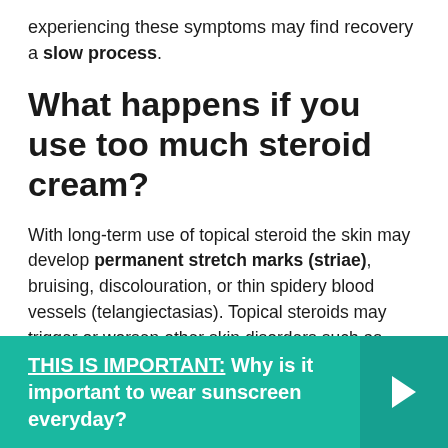experiencing these symptoms may find recovery a slow process.
What happens if you use too much steroid cream?
With long-term use of topical steroid the skin may develop permanent stretch marks (striae), bruising, discolouration, or thin spidery blood vessels (telangiectasias). Topical steroids may trigger or worsen other skin disorders such as acne, rosacea and perioral dermatitis.
THIS IS IMPORTANT: Why is it important to wear sunscreen everyday?